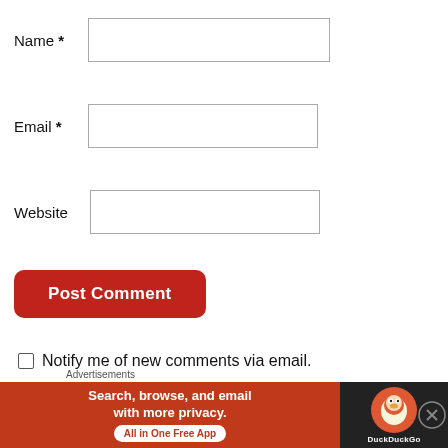Name *
Email *
Website
Post Comment
Notify me of new comments via email.
Notify me of new posts via email.
Advertisements
[Figure (screenshot): DuckDuckGo advertisement banner: 'Search, browse, and email with more privacy. All in One Free App' with DuckDuckGo duck logo on dark background]